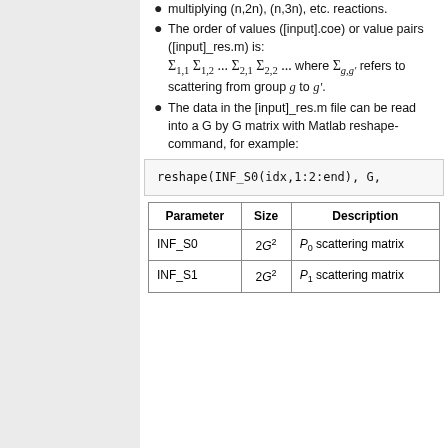multiplying (n,2n), (n,3n), etc. reactions.
The order of values ([input].coe) or value pairs ([input]_res.m) is: Σ_1,1 Σ_1,2 ... Σ_2,1 Σ_2,2 ... where Σ_g,g' refers to scattering from group g to g'.
The data in the [input]_res.m file can be read into a G by G matrix with Matlab reshape-command, for example:
reshape(INF_S0(idx,1:2:end), G,
| Parameter | Size | Description |
| --- | --- | --- |
| INF_S0 | 2G² | P_0 scattering matrix |
| INF_S1 | 2G² | P_1 scattering matrix |